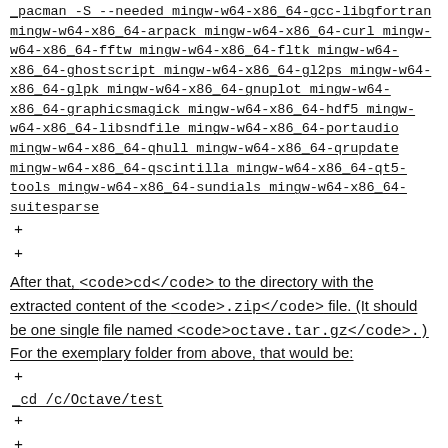pacman -S --needed mingw-w64-x86_64-gcc-libgfortran mingw-w64-x86_64-arpack mingw-w64-x86_64-curl mingw-w64-x86_64-fftw mingw-w64-x86_64-fltk mingw-w64-x86_64-ghostscript mingw-w64-x86_64-gl2ps mingw-w64-x86_64-glpk mingw-w64-x86_64-gnuplot mingw-w64-x86_64-graphicsmagick mingw-w64-x86_64-hdf5 mingw-w64-x86_64-libsndfile mingw-w64-x86_64-portaudio mingw-w64-x86_64-qhull mingw-w64-x86_64-qrupdate mingw-w64-x86_64-qscintilla mingw-w64-x86_64-qt5-tools mingw-w64-x86_64-sundials mingw-w64-x86_64-suitesparse
+
+
After that, <code>cd</code> to the directory with the extracted content of the <code>.zip</code> file. (It should be one single file named <code>octave.tar.gz</code>.) For the exemplary folder from above, that would be:
+
cd /c/Octave/test
+
+